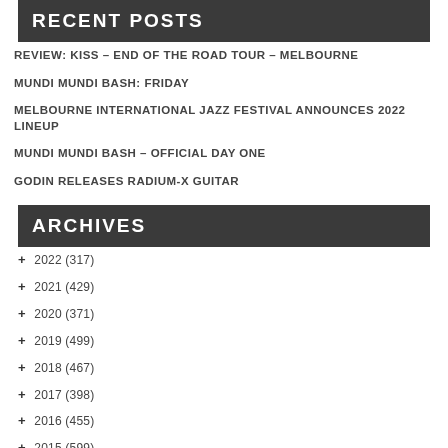RECENT POSTS
REVIEW: KISS – END OF THE ROAD TOUR – MELBOURNE
MUNDI MUNDI BASH: FRIDAY
MELBOURNE INTERNATIONAL JAZZ FESTIVAL ANNOUNCES 2022 LINEUP
MUNDI MUNDI BASH – OFFICIAL DAY ONE
GODIN RELEASES RADIUM-X GUITAR
ARCHIVES
+ 2022 (317)
+ 2021 (429)
+ 2020 (371)
+ 2019 (499)
+ 2018 (467)
+ 2017 (398)
+ 2016 (455)
+ 2015 (599)
+ 2014 (350)